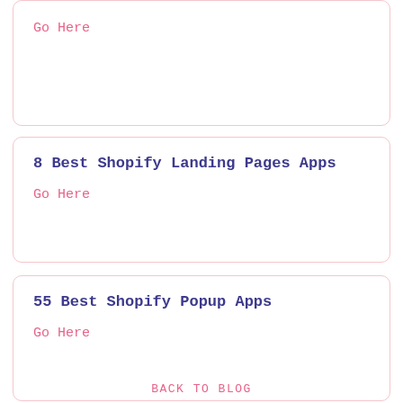Go Here
8 Best Shopify Landing Pages Apps
Go Here
55 Best Shopify Popup Apps
Go Here
BACK TO BLOG